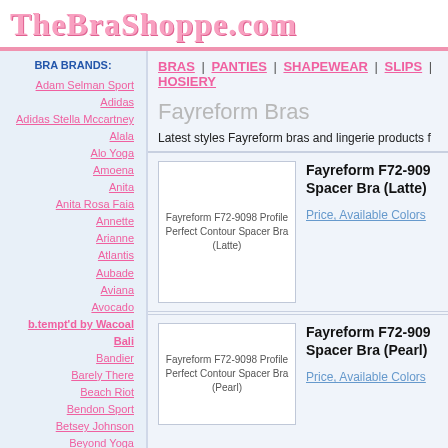TheBraShoppe.com
BRA BRANDS:
Adam Selman Sport
Adidas
Adidas Stella Mccartney
Alala
Alo Yoga
Amoena
Anita
Anita Rosa Faia
Annette
Arianne
Atlantis
Aubade
Aviana
Avocado
b.tempt'd by Wacoal
Bali
Bandier
Barely There
Beach Riot
Bendon Sport
Betsey Johnson
Beyond Yoga
Bluebella
Blush
BRAS | PANTIES | SHAPEWEAR | SLIPS | HOSIERY
Fayreform Bras
Latest styles Fayreform bras and lingerie products f
[Figure (photo): Fayreform F72-9098 Profile Perfect Contour Spacer Bra (Latte)]
Fayreform F72-9098 Profile Perfect Contour Spacer Bra (Latte)
Price, Available Colors
[Figure (photo): Fayreform F72-9098 Profile Perfect Contour Spacer Bra (Pearl)]
Fayreform F72-9098 Profile Perfect Contour Spacer Bra (Pearl)
Price, Available Colors